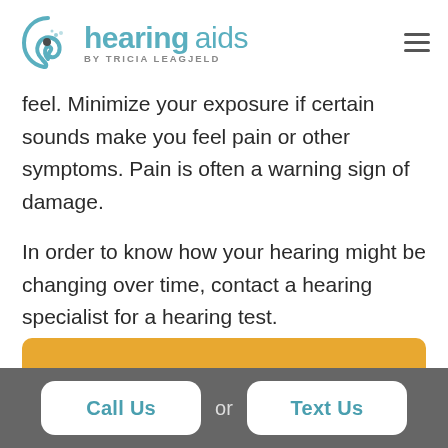[Figure (logo): Hearing Aids by Tricia Leagjeld logo with teal swirl/ear icon and teal text]
feel. Minimize your exposure if certain sounds make you feel pain or other symptoms. Pain is often a warning sign of damage.
In order to know how your hearing might be changing over time, contact a hearing specialist for a hearing test.
Call Us  or  Text Us